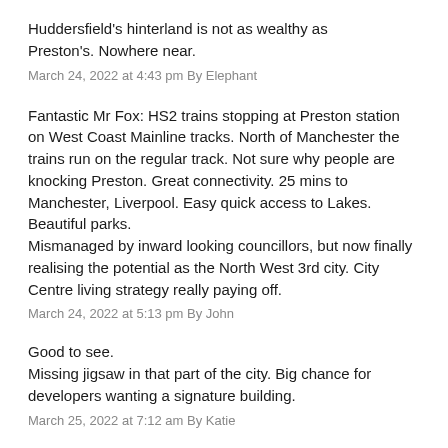Huddersfield's hinterland is not as wealthy as Preston's. Nowhere near.
March 24, 2022 at 4:43 pm By Elephant
Fantastic Mr Fox: HS2 trains stopping at Preston station on West Coast Mainline tracks. North of Manchester the trains run on the regular track. Not sure why people are knocking Preston. Great connectivity. 25 mins to Manchester, Liverpool. Easy quick access to Lakes. Beautiful parks. Mismanaged by inward looking councillors, but now finally realising the potential as the North West 3rd city. City Centre living strategy really paying off.
March 24, 2022 at 5:13 pm By John
Good to see.
Missing jigsaw in that part of the city. Big chance for developers wanting a signature building.
March 25, 2022 at 7:12 am By Katie
More going on in Preston than Liverpool (seriously)